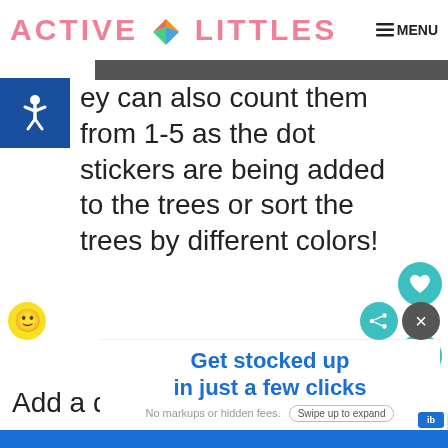ACTIVE LITTLES | MENU
ey can also count them from 1-5 as the dot stickers are being added to the trees or sort the trees by different colors!
Add a dot sticker with an uppercase letter to one tree dot sticker with a lowercase letter to another. Match them together.
[Figure (infographic): What's Next promotional box with Turkey Craft for Kids thumbnail]
[Figure (infographic): Advertisement banner: Get stocked up in just a few clicks. No markups or hidden fees. Swipe up to expand.]